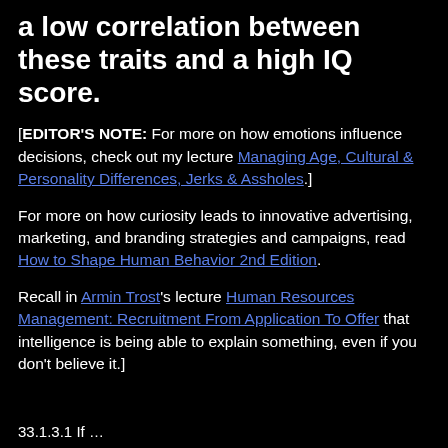a low correlation between these traits and a high IQ score.
[EDITOR'S NOTE: For more on how emotions influence decisions, check out my lecture Managing Age, Cultural & Personality Differences, Jerks & Assholes.]
For more on how curiosity leads to innovative advertising, marketing, and branding strategies and campaigns, read How to Shape Human Behavior 2nd Edition.
Recall in Armin Trost's lecture Human Resources Management: Recruitment From Application To Offer that intelligence is being able to explain something, even if you don't believe it.]
33.1.3.1 If …